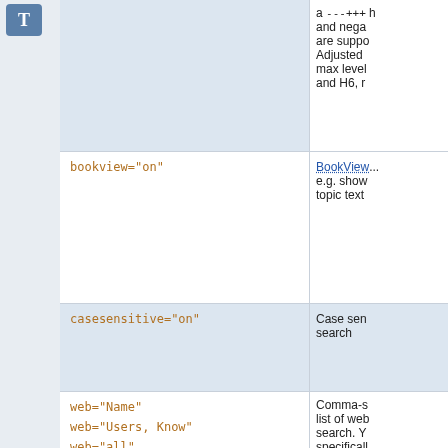[Figure (other): Icon box with letter T on blue/grey background]
| Parameter | Description |
| --- | --- |
| (top partial row) | a ---+++ headings, and negative headings are supported. Adjusted max level is H6, r... |
| bookview="on" | BookView... e.g. show topic text |
| casesensitive="on" | Case sensitive search |
| web="Name"
web="Users, Know"
web="all" | Comma-separated list of webs to search. You can specifically \"exclude\" from an a... using a m... for example, web="all, Secretweb... |